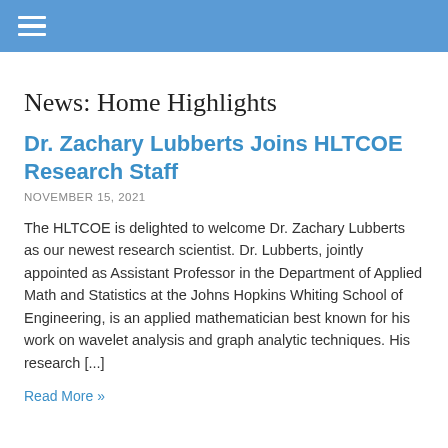☰ (navigation bar)
News: Home Highlights
Dr. Zachary Lubberts Joins HLTCOE Research Staff
NOVEMBER 15, 2021
The HLTCOE is delighted to welcome Dr. Zachary Lubberts as our newest research scientist. Dr. Lubberts, jointly appointed as Assistant Professor in the Department of Applied Math and Statistics at the Johns Hopkins Whiting School of Engineering, is an applied mathematician best known for his work on wavelet analysis and graph analytic techniques. His research [...]
Read More »